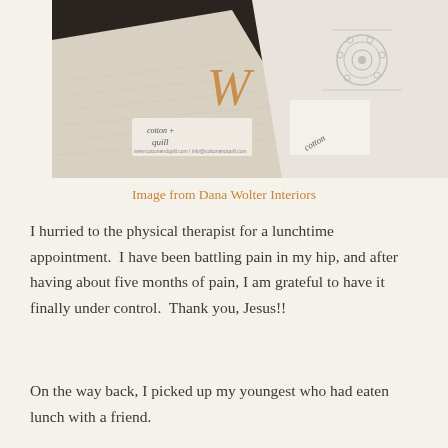[Figure (photo): Close-up photograph of fabric swatches or textiles with 'cotton + quill' labels and a decorative W monogram on one piece, and an embroidered or printed fabric pattern on another piece.]
Image from Dana Wolter Interiors
I hurried to the physical therapist for a lunchtime appointment.  I have been battling pain in my hip, and after having about five months of pain, I am grateful to have it finally under control.  Thank you, Jesus!!
On the way back, I picked up my youngest who had eaten lunch with a friend.